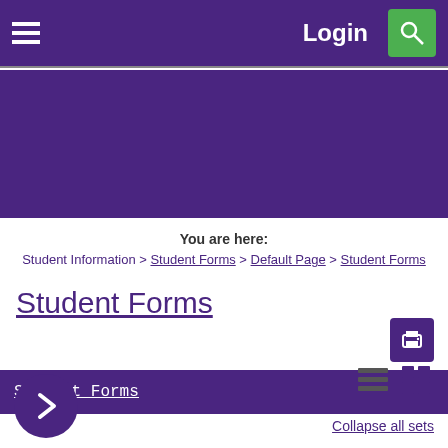Login
You are here: Student Information > Student Forms > Default Page > Student Forms
Student Forms
[Figure (screenshot): Print button icon (printer) in purple square]
Student Forms
[Figure (other): Purple circle with right-pointing chevron arrow]
[Figure (other): List view and grid view toggle icons]
Collapse all sets